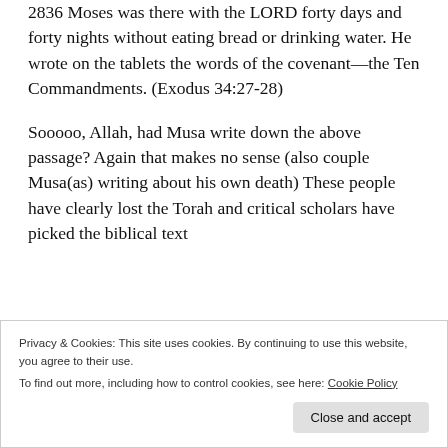2836 Moses was there with the LORD forty days and forty nights without eating bread or drinking water. He wrote on the tablets the words of the covenant—the Ten Commandments. (Exodus 34:27-28)
Sooooo, Allah, had Musa write down the above passage? Again that makes no sense (also couple Musa(as) writing about his own death) These people have clearly lost the Torah and critical scholars have picked the biblical text
Privacy & Cookies: This site uses cookies. By continuing to use this website, you agree to their use.
To find out more, including how to control cookies, see here: Cookie Policy
Close and accept